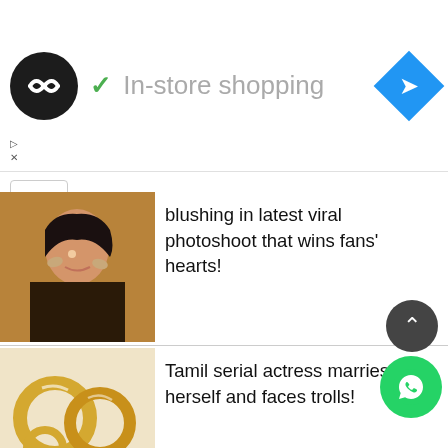[Figure (screenshot): Ad banner with circular logo showing infinity-like symbol, green checkmark, 'In-store shopping' text, and blue diamond arrow icon]
blushing in latest viral photoshoot that wins fans' hearts!
Tamil serial actress marries herself and faces trolls!
Selvaraghavan's revelation about Pon Selvan and Aayirathil Oruvan rocks the